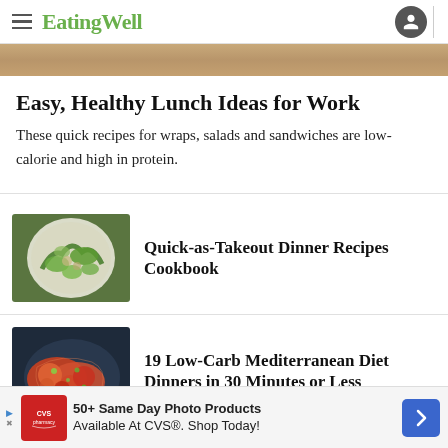EatingWell
[Figure (photo): Partial food photo strip at top of page, warm brown/tan tones]
Easy, Healthy Lunch Ideas for Work
These quick recipes for wraps, salads and sandwiches are low-calorie and high in protein.
[Figure (photo): Bowl of stir-fry with green vegetables and meat]
Quick-as-Takeout Dinner Recipes Cookbook
[Figure (photo): Plate of low-carb Mediterranean food with colorful vegetables and sauce]
19 Low-Carb Mediterranean Diet Dinners in 30 Minutes or Less
50+ Same Day Photo Products Available At CVS®. Shop Today!